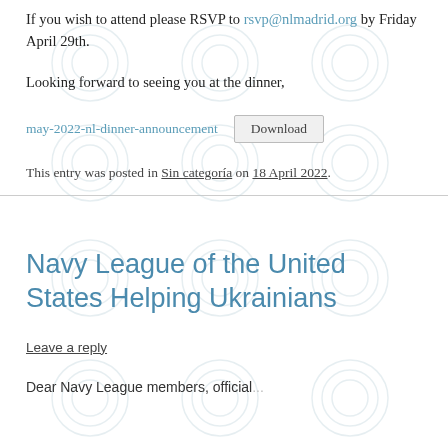If you wish to attend please RSVP to rsvp@nlmadrid.org by Friday April 29th.
Looking forward to seeing you at the dinner,
may-2022-nl-dinner-announcement   Download
This entry was posted in Sin categoría on 18 April 2022.
Navy League of the United States Helping Ukrainians
Leave a reply
Dear Navy League members, official...